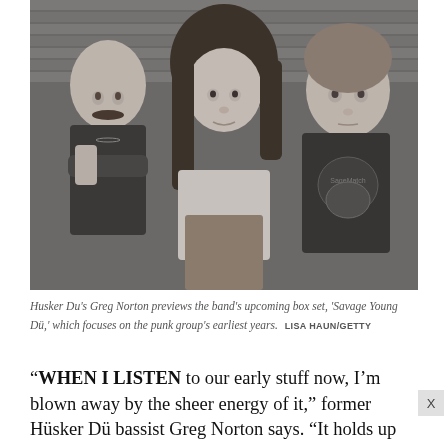[Figure (photo): Black and white photo of three people sitting together — a man with a mustache on the left with arms crossed wearing a dark t-shirt, a woman in the center with dark hair wearing a light t-shirt, and a man on the right wearing a dark t-shirt with a graphic. They appear to be sitting against a slatted background.]
Husker Du's Greg Norton previews the band's upcoming box set, 'Savage Young Dü,' which focuses on the punk group's earliest years.  LISA HAUN/GETTY
“WHEN I LISTEN to our early stuff now, I’m blown away by the sheer energy of it,” former Hüsker Dü bassist Greg Norton says. “It holds up